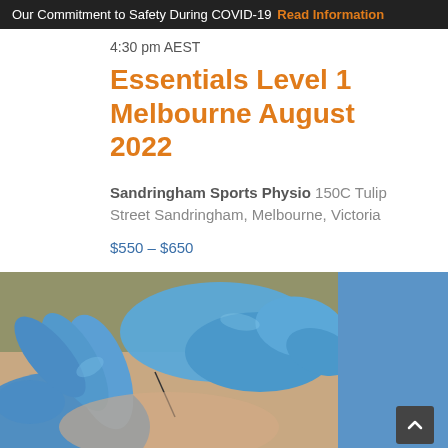Our Commitment to Safety During COVID-19 Read Information
4:30 pm AEST
Essentials Level 1 Melbourne August 2022
Sandringham Sports Physio 150C Tulip Street Sandringham, Melbourne, Victoria
$550 – $650
FRI 12
[Figure (photo): Close-up photo of gloved hands inserting a needle into skin, representing a dry needling or acupuncture medical procedure. Blue latex gloves visible against a light background.]